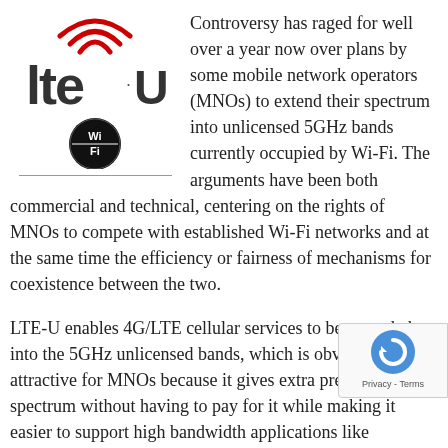[Figure (logo): LTE-U logo with red wireless signal arcs above 'lte' text and '.U' suffix, with a Wi-Fi logo badge below it (black circle with 'Wi-Fi' text in white)]
Controversy has raged for well over a year now over plans by some mobile network operators (MNOs) to extend their spectrum into unlicensed 5GHz bands currently occupied by Wi-Fi. The arguments have been both commercial and technical, centering on the rights of MNOs to compete with established Wi-Fi networks and at the same time the efficiency or fairness of mechanisms for coexistence between the two.
LTE-U enables 4G/LTE cellular services to be extended into the 5GHz unlicensed bands, which is obviously attractive for MNOs because it gives extra precious spectrum without having to pay for it while making it easier to support high bandwidth applications like premium live video stre... But the initiative, initially proposed by Qualcomm a... Ericsson, has gained some traction within the 3rd
[Figure (logo): reCAPTCHA badge with blue circular arrow logo and 'Privacy - Terms' text]